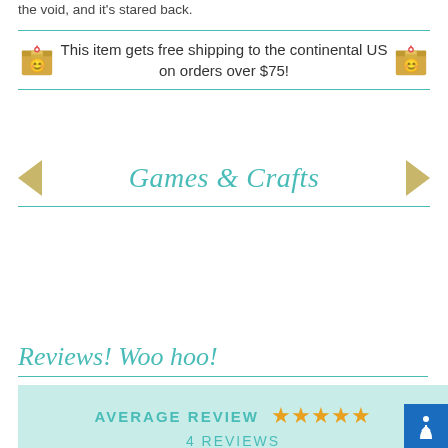the void, and it's stared back.
This item gets free shipping to the continental US on orders over $75!
Games & Crafts
Reviews! Woo hoo!
AVERAGE REVIEW ★★★★★ 4 REVIEWS